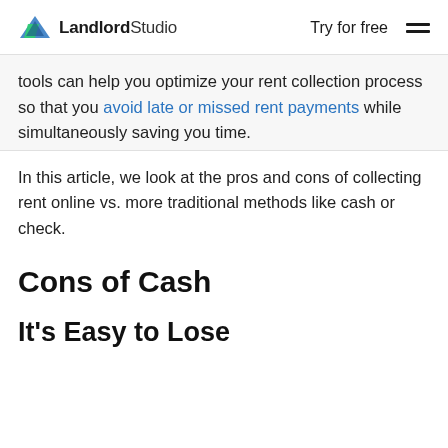LandlordStudio | Try for free
tools can help you optimize your rent collection process so that you avoid late or missed rent payments while simultaneously saving you time.
In this article, we look at the pros and cons of collecting rent online vs. more traditional methods like cash or check.
Cons of Cash
It's Easy to Lose